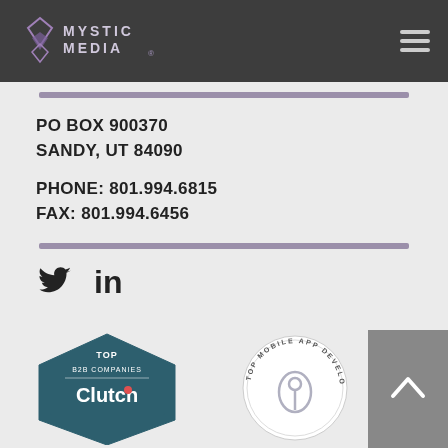[Figure (logo): Mystic Media logo with geometric diamond-like icon and text MYSTIC MEDIA with registered trademark symbol, white on dark background]
[Figure (other): Hamburger menu icon (three horizontal lines) on dark background, top right corner]
PO BOX 900370
SANDY, UT 84090

PHONE: 801.994.6815
FAX: 801.994.6456
[Figure (other): Twitter bird icon (social media)]
[Figure (other): LinkedIn 'in' icon (social media)]
[Figure (other): Clutch 'Top B2B Companies' badge with dark teal pentagon shape and Clutch logo]
[Figure (other): Top Mobile App Developer badge, circular seal shape in white/gray]
[Figure (other): Back to top button, gray square with upward chevron arrow]